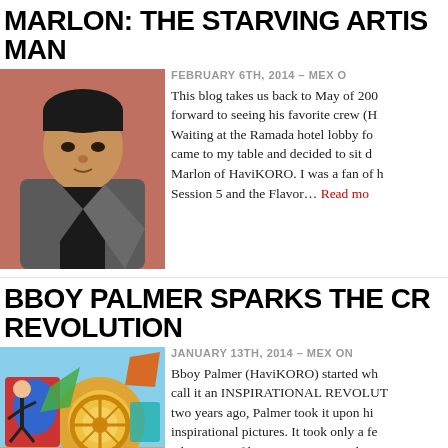MARLON: THE STARVING ARTIST MAN
[Figure (photo): Photo of Marlon, a man in a grey jacket leaning forward against a reddish background]
FEBRUARY 6TH, 2014 – MEX ON…
This blog takes us back to May of 200… forward to seeing his favorite crew (H… Waiting at the Ramada hotel lobby fo… came to my table and decided to sit d… Marlon of HaviKORO. I was a fan of h… Session 5 and the Flavor… Read more
BBOY PALMER SPARKS THE CR… REVOLUTION
[Figure (photo): Colorful mural/street art with vibrant figures, a bboy dancer and artistic shapes in red, blue, yellow, green tones]
JANUARY 13TH, 2014 – MEX ON…
Bboy Palmer (HaviKORO) started wh… call it an INSPIRATIONAL REVOLUT… two years ago, Palmer took it upon hi… inspirational pictures. It took only a fe… take notice of his creative approach…